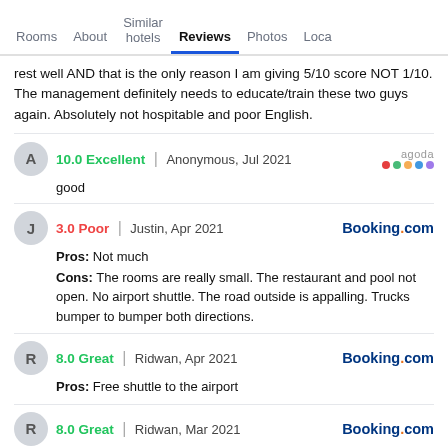Rooms | About | Similar hotels | Reviews | Photos | Loca
rest well AND that is the only reason I am giving 5/10 score NOT 1/10. The management definitely needs to educate/train these two guys again. Absolutely not hospitable and poor English.
10.0 Excellent | Anonymous, Jul 2021 [agoda logo] good
3.0 Poor | Justin, Apr 2021 [Booking.com] Pros: Not much Cons: The rooms are really small. The restaurant and pool not open. No airport shuttle. The road outside is appalling. Trucks bumper to bumper both directions.
8.0 Great | Ridwan, Apr 2021 [Booking.com] Pros: Free shuttle to the airport
8.0 Great | Ridwan, Mar 2021 [Booking.com] Pros: Free shuttle to the airport Cons: Access road to the airport was ok